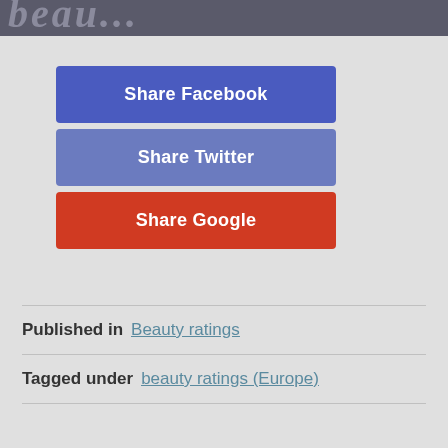[Figure (photo): Partial view of a person's face or head at top of page, dark toned image with decorative text overlay reading 'beau...']
Share Facebook
Share Twitter
Share Google
Published in  Beauty ratings
Tagged under  beauty ratings (Europe)